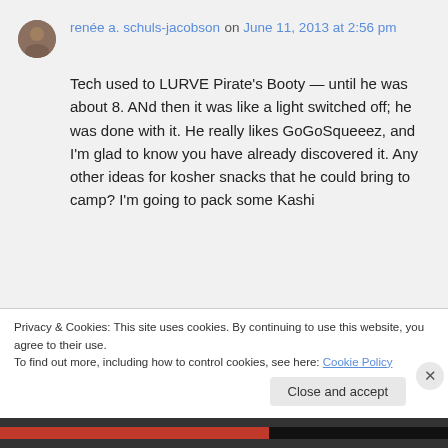renée a. schuls-jacobson on June 11, 2013 at 2:56 pm
Tech used to LURVE Pirate's Booty — until he was about 8. ANd then it was like a light switched off; he was done with it. He really likes GoGoSqueeez, and I'm glad to know you have already discovered it. Any other ideas for kosher snacks that he could bring to camp? I'm going to pack some Kashi
Privacy & Cookies: This site uses cookies. By continuing to use this website, you agree to their use.
To find out more, including how to control cookies, see here: Cookie Policy
Close and accept